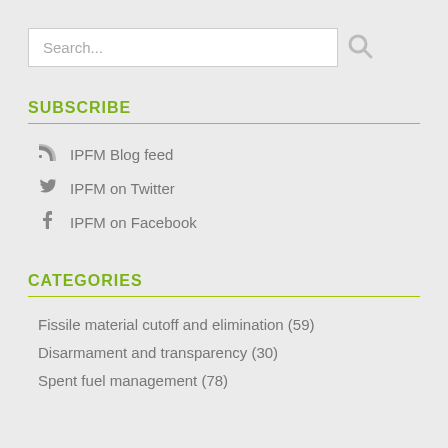[Figure (other): Search input box with search icon]
SUBSCRIBE
IPFM Blog feed
IPFM on Twitter
IPFM on Facebook
CATEGORIES
Fissile material cutoff and elimination (59)
Disarmament and transparency (30)
Spent fuel management (78)